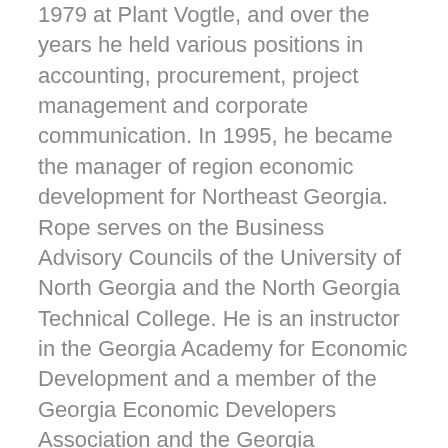1979 at Plant Vogtle, and over the years he held various positions in accounting, procurement, project management and corporate communication. In 1995, he became the manager of region economic development for Northeast Georgia. Rope serves on the Business Advisory Councils of the University of North Georgia and the North Georgia Technical College. He is an instructor in the Georgia Academy for Economic Development and a member of the Georgia Economic Developers Association and the Georgia Association of Chamber of Commerce Executives.
Rope holds a Bachelor of Business Administration in Management from Augusta State University and a Bachelor of Education from Georgia